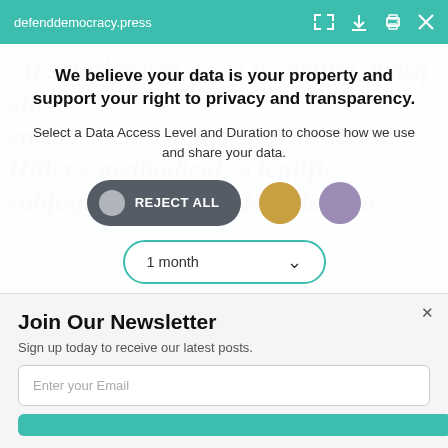defenddemocracy.press
We believe your data is your property and support your right to privacy and transparency.
Select a Data Access Level and Duration to choose how we use and share your data.
REJECT ALL [button with grey circle] [gold circle button] [purple circle button]
1 month [dropdown]
Highest level of privacy. Data accessed for necessary basic operations only. Data shared with 3rd parties to ensure the
Join Our Newsletter
Sign up today to receive our latest posts.
Enter your Email